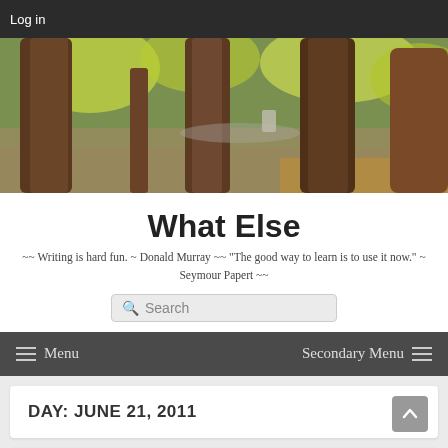Log in
[Figure (photo): Outdoor park scene with large tree trunks in autumn, green and yellow foliage visible in background]
What Else
~~ Writing is hard fun. ~ Donald Murray ~~ "The good way to learn is to use it now." ~ Seymour Papert ~~
Menu   Secondary Menu
DAY: JUNE 21, 2011
One Does What One Can